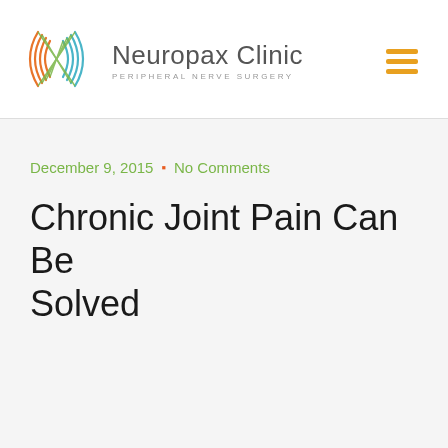[Figure (logo): Neuropax Clinic logo with stylized nerve/waveform graphic in orange and teal colors, with text 'Neuropax Clinic' and subtitle 'PERIPHERAL NERVE SURGERY']
December 9, 2015 · No Comments
Chronic Joint Pain Can Be Solved